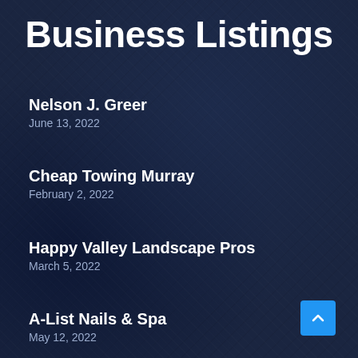Business Listings
Nelson J. Greer
June 13, 2022
Cheap Towing Murray
February 2, 2022
Happy Valley Landscape Pros
March 5, 2022
A-List Nails & Spa
May 12, 2022